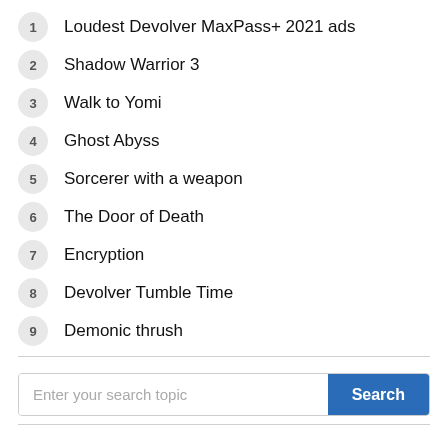1 Loudest Devolver MaxPass+ 2021 ads
2 Shadow Warrior 3
3 Walk to Yomi
4 Ghost Abyss
5 Sorcerer with a weapon
6 The Door of Death
7 Encryption
8 Devolver Tumble Time
9 Demonic thrush
Enter your search topic
Search